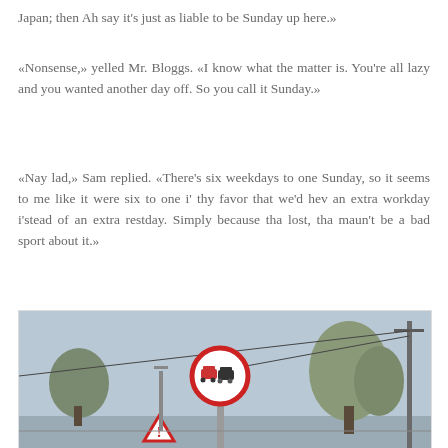Japan; then Ah say it's just as liable to be Sunday up here.»
«Nonsense,» yelled Mr. Bloggs. «I know what the matter is. You're all lazy and you wanted another day off. So you call it Sunday.»
«Nay lad,» Sam replied. «There's six weekdays to one Sunday, so it seems to me like it were six to one i' thy favor that we'd hev an extra workday i'stead of an extra restday. Simply because tha lost, tha maun't be a bad sport about it.»
[Figure (photo): A road scene with a circular red-bordered no-overtaking traffic sign on a pole, with trees and a utility pole in the background under a grey sky.]